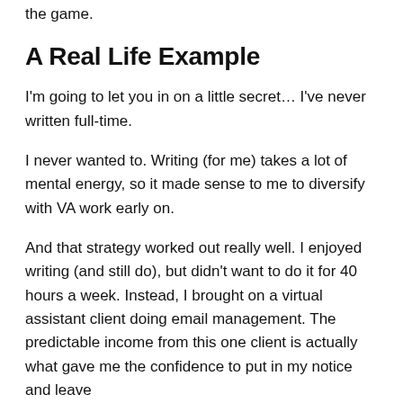the game.
A Real Life Example
I'm going to let you in on a little secret… I've never written full-time.
I never wanted to. Writing (for me) takes a lot of mental energy, so it made sense to me to diversify with VA work early on.
And that strategy worked out really well. I enjoyed writing (and still do), but didn't want to do it for 40 hours a week. Instead, I brought on a virtual assistant client doing email management. The predictable income from this one client is actually what gave me the confidence to put in my notice and leave